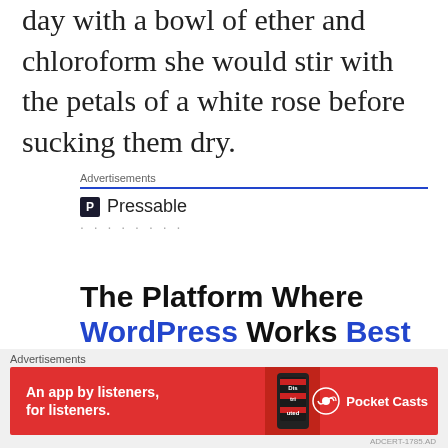day with a bowl of ether and chloroform she would stir with the petals of a white rose before sucking them dry.
Advertisements
[Figure (screenshot): Pressable advertisement with blue rule, Pressable logo icon and name, loading dots, and headline 'The Platform Where WordPress Works Best']
Advertisements
[Figure (screenshot): Pocket Casts advertisement on red background: 'An app by listeners, for listeners.' with phone image and Pocket Casts logo]